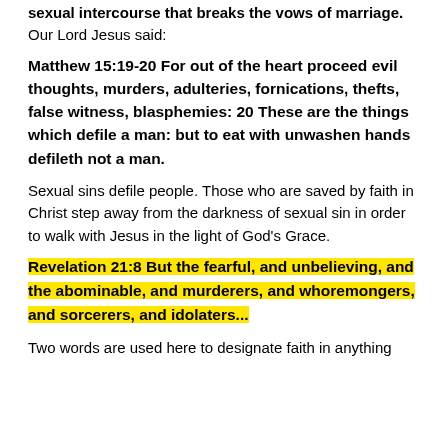sexual intercourse that breaks the vows of marriage.
Our Lord Jesus said:
Matthew 15:19-20 For out of the heart proceed evil thoughts, murders, adulteries, fornications, thefts, false witness, blasphemies: 20 These are the things which defile a man: but to eat with unwashen hands defileth not a man.
Sexual sins defile people. Those who are saved by faith in Christ step away from the darkness of sexual sin in order to walk with Jesus in the light of God's Grace.
Revelation 21:8 But the fearful, and unbelieving, and the abominable, and murderers, and whoremongers, and sorcerers, and idolaters...
Two words are used here to designate faith in anything